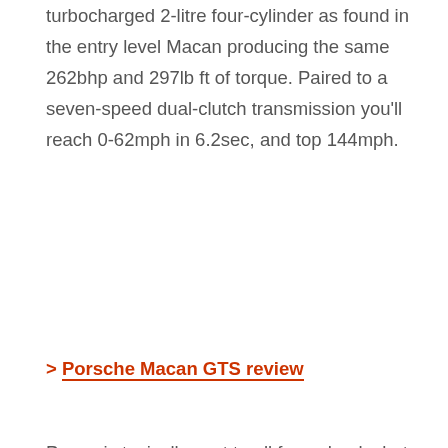turbocharged 2-litre four-cylinder as found in the entry level Macan producing the same 262bhp and 297lb ft of torque. Paired to a seven-speed dual-clutch transmission you'll reach 0-62mph in 6.2sec, and top 144mph.
> Porsche Macan GTS review
Power is typically sent to all four wheels, but Porsche's traction management system has also been recalibrated to give the all-wheel drive set-up a more rear-driven bias. When combined with the
[Figure (other): Advertisement banner for Walgreens Photo: Shop Cosmetics and Accessories]